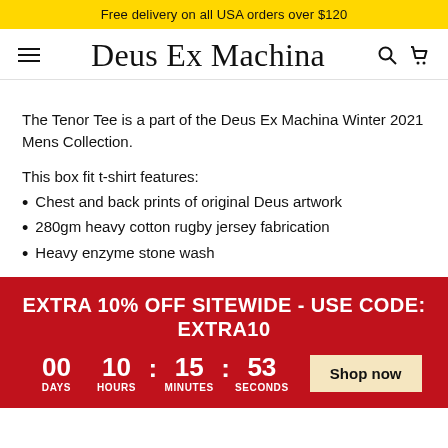Free delivery on all USA orders over $120
[Figure (logo): Deus Ex Machina navigation bar with hamburger menu, logo, search and cart icons]
The Tenor Tee is a part of the Deus Ex Machina Winter 2021 Mens Collection.
This box fit t-shirt features:
Chest and back prints of original Deus artwork
280gm heavy cotton rugby jersey fabrication
Heavy enzyme stone wash
EXTRA 10% OFF SITEWIDE - USE CODE: EXTRA10
00 DAYS 10 : 15 : 53 SECONDS  Shop now